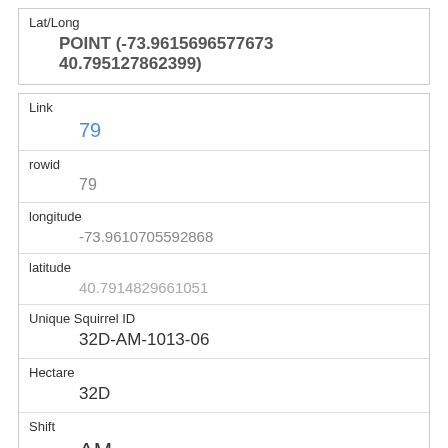| Lat/Long |
| --- |
| POINT (-73.9615696577673 40.795127862399) |
| Link | rowid | longitude | latitude | Unique Squirrel ID | Hectare | Shift | Date | Hectare Squirrel Number |
| --- | --- | --- | --- | --- | --- | --- | --- | --- |
| 79 | 79 | -73.9610705592868 | 40.7914829661051 | 32D-AM-1013-06 | 32D | AM | 10132018 |  |